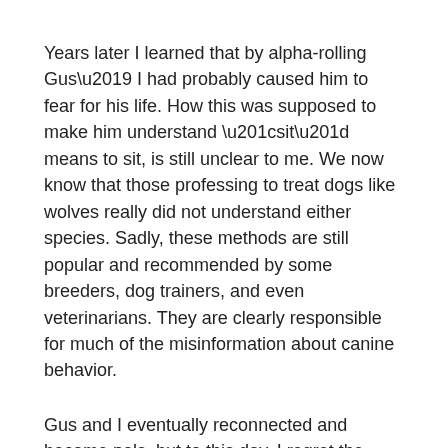Years later I learned that by alpha-rolling Gus’ I had probably caused him to fear for his life. How this was supposed to make him understand “sit” means to sit, is still unclear to me. We now know that those professing to treat dogs like wolves really did not understand either species. Sadly, these methods are still popular and recommended by some breeders, dog trainers, and even veterinarians. They are clearly responsible for much of the misinformation about canine behavior.
Gus and I eventually reconnected and became pals, but to this day, I regret the damage I caused because I blindly followed the advice of an alleged expert.
Recommended Resources